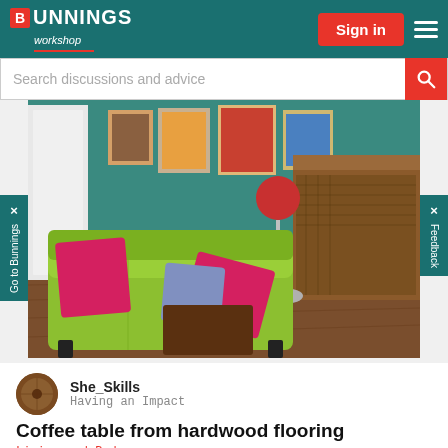Bunnings Workshop — Sign in
Search discussions and advice
[Figure (photo): A retro-styled living room with a lime green sofa with hot pink cushions, warm hardwood laminate flooring, teal walls with framed artwork, a bar area on the right with wicker paneling, and pink bar stools.]
She_Skills
Having an Impact
Coffee table from hardwood flooring
Living and Bedroom